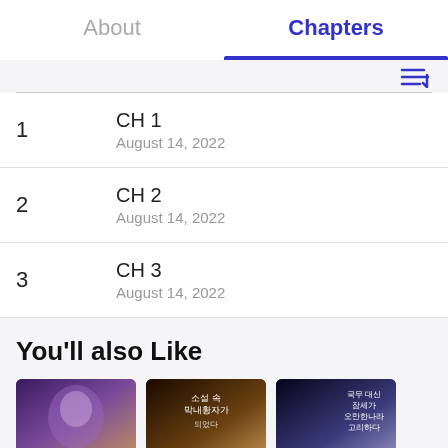About
Chapters
1  CH 1  August 14, 2022
2  CH 2  August 14, 2022
3  CH 3  August 14, 2022
You'll also Like
[Figure (illustration): Three manga/webtoon cover thumbnails shown in a row]
[Figure (illustration): Manga cover with Korean text: 소설 속 막내황자가 되었다]
[Figure (illustration): Manga cover with Korean text: 국무 대신 잠세가 오만한나라 고리하다]